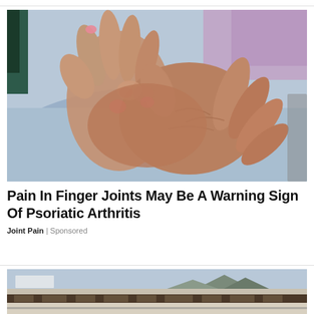[Figure (photo): Close-up photo of elderly person's hands with swollen, arthritic finger joints, resting on light blue fabric (lap/clothing)]
Pain In Finger Joints May Be A Warning Sign Of Psoriatic Arthritis
Joint Pain | Sponsored
[Figure (photo): Partial photo of a low building/school or public facility exterior with mountains in the background]